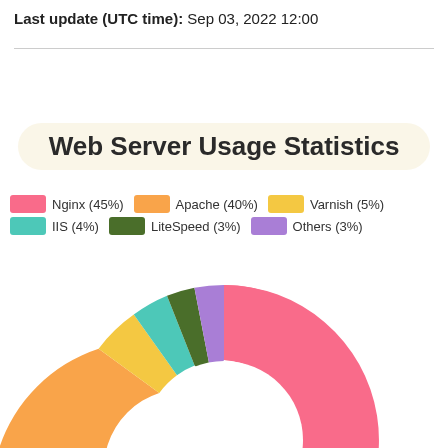Last update (UTC time): Sep 03, 2022 12:00
[Figure (donut-chart): Web Server Usage Statistics]